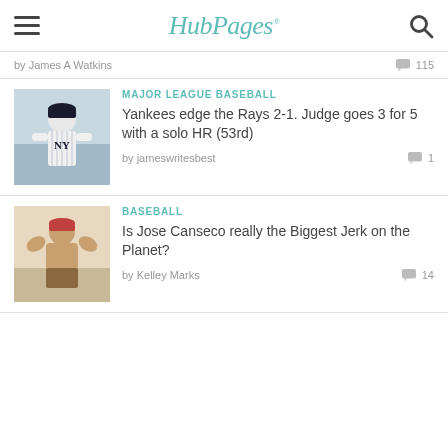HubPages
by James A Watkins  115
[Figure (photo): Thumbnail photo of a Yankees baseball player (Aaron Judge) in white pinstripe uniform]
MAJOR LEAGUE BASEBALL
Yankees edge the Rays 2-1. Judge goes 3 for 5 with a solo HR (53rd)
by jameswritesbest  1
[Figure (photo): Thumbnail photo of Jose Canseco posing shirtless flexing]
BASEBALL
Is Jose Canseco really the Biggest Jerk on the Planet?
by Kelley Marks  14